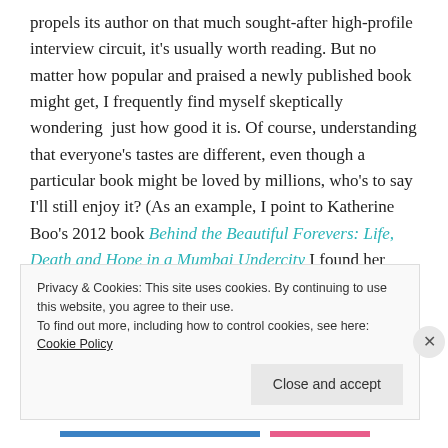propels its author on that much sought-after high-profile interview circuit, it's usually worth reading. But no matter how popular and praised a newly published book might get, I frequently find myself skeptically wondering just how good it is. Of course, understanding that everyone's tastes are different, even though a particular book might be loved by millions, who's to say I'll still enjoy it? (As an example, I point to Katherine Boo's 2012 book Behind the Beautiful Forevers: Life, Death and Hope in a Mumbai Undercity I found her writing a bit herky-jerky at times and the book's pace not entirely to
Privacy & Cookies: This site uses cookies. By continuing to use this website, you agree to their use.
To find out more, including how to control cookies, see here: Cookie Policy
Close and accept